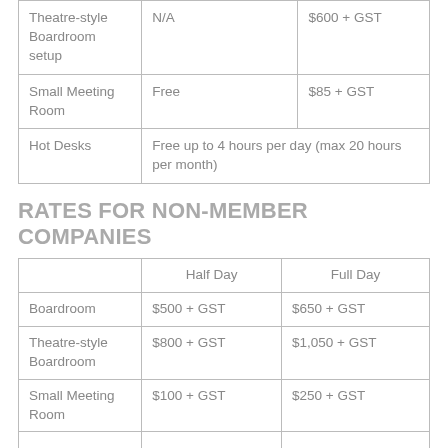|  |  |  |
| --- | --- | --- |
| Theatre-style Boardroom setup | N/A | $600 + GST |
| Small Meeting Room | Free | $85 + GST |
| Hot Desks | Free up to 4 hours per day (max 20 hours per month) |  |
RATES FOR NON-MEMBER COMPANIES
|  | Half Day | Full Day |
| --- | --- | --- |
| Boardroom | $500 + GST | $650 + GST |
| Theatre-style Boardroom | $800 + GST | $1,050 + GST |
| Small Meeting Room | $100 + GST | $250 + GST |
|  |  |  |